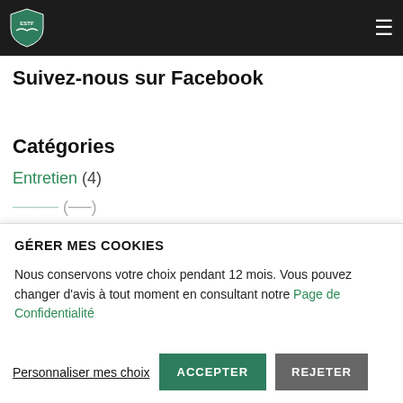ESTF logo and navigation header
Suivez-nous sur Facebook
Catégories
Entretien (4)
GÉRER MES COOKIES
Nous conservons votre choix pendant 12 mois. Vous pouvez changer d'avis à tout moment en consultant notre Page de Confidentialité
Personnaliser mes choix | ACCEPTER | REJETER